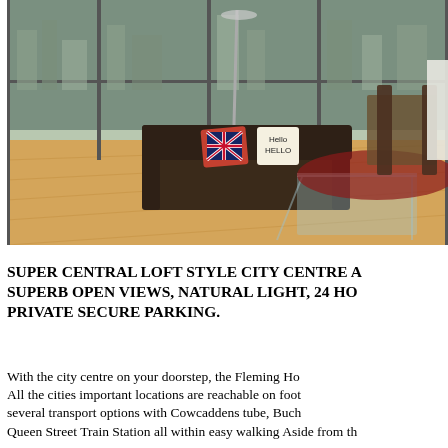[Figure (photo): Interior photo of a modern loft-style apartment with large floor-to-ceiling windows overlooking a city skyline. Features a dark leather sofa with Union Jack and 'Hello' cushions, a glass coffee table, hardwood floor, arc floor lamp, and a dining area with a red rug in the background.]
SUPER CENTRAL LOFT STYLE CITY CENTRE A SUPERB OPEN VIEWS, NATURAL LIGHT, 24 HO PRIVATE SECURE PARKING.
With the city centre on your doorstep, the Fleming Ho All the cities important locations are reachable on foot several transport options with Cowcaddens tube, Buch Queen Street Train Station all within easy walking Aside from th